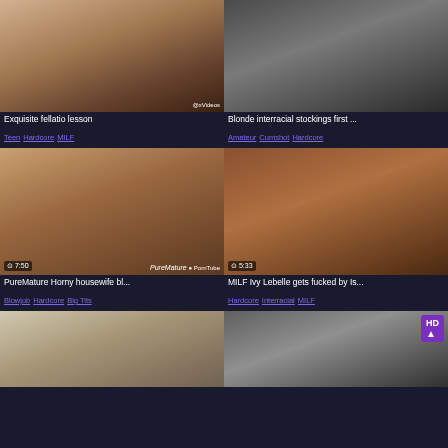[Figure (photo): Video thumbnail 1]
Exquisite fellatio lesson
Teen Hardcore MILF
[Figure (photo): Video thumbnail 2]
Blonde interracial stockings first ...
Amateur Cumshot Hardcore
[Figure (photo): Video thumbnail 3 - 7:50 PureMature]
PureMature Horny housewife bl...
Blowjob Hardcore Big Tits
[Figure (photo): Video thumbnail 4 - 5:33]
MILF Ivy Lebelle gets fucked by Is...
Hardcore Interracial MILF
[Figure (photo): Video thumbnail 5]
[Figure (photo): Video thumbnail 6 - HD badge]